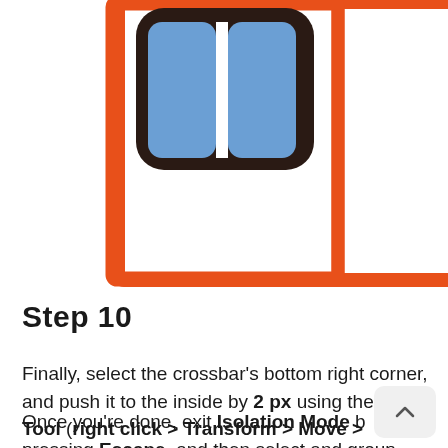[Figure (illustration): A graphic showing a stylized keyboard key or button with a dark brown rounded rectangle shape, containing two blue rounded rectangles side by side with a white vertical gap between them, all enclosed in an orange/red rectangular border outline.]
Step 10
Finally, select the crossbar's bottom right corner, and push it to the inside by 2 px using the Move Tool (right click > Transform > Move > Horizontal > -2 px).
Once you're done, exit Isolation Mode by pressing Escape, and then select and group